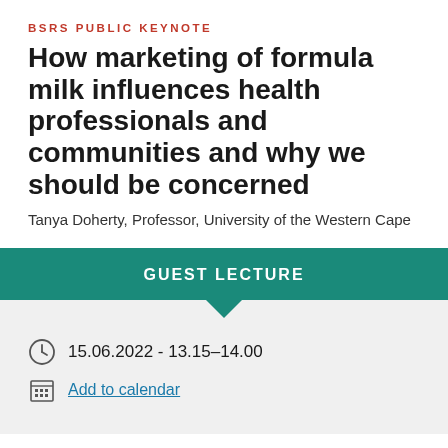BSRS PUBLIC KEYNOTE
How marketing of formula milk influences health professionals and communities and why we should be concerned
Tanya Doherty, Professor, University of the Western Cape
GUEST LECTURE
15.06.2022 - 13.15–14.00
Add to calendar